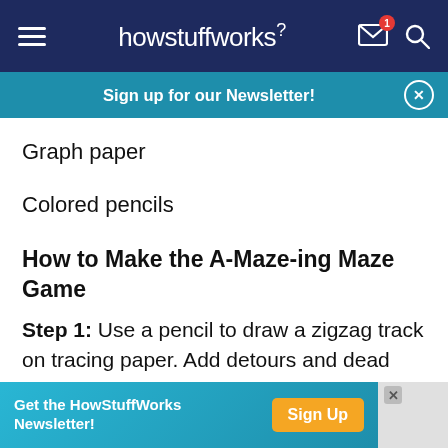howstuffworks
Sign up for our Newsletter!
Graph paper
Colored pencils
How to Make the A-Maze-ing Maze Game
Step 1: Use a pencil to draw a zigzag track on tracing paper. Add detours and dead ends off the track, and add more tracks that go nowhere. You can also make more maze tracks that are curved or
Get the HowStuffWorks Newsletter! Sign Up